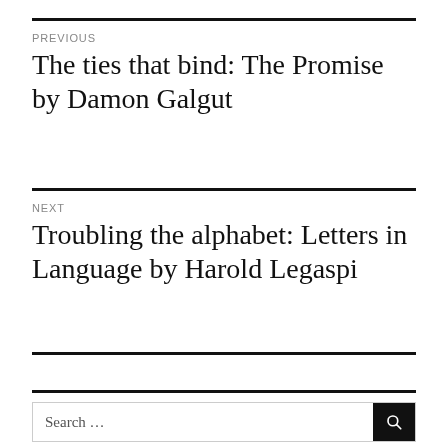PREVIOUS
The ties that bind: The Promise by Damon Galgut
NEXT
Troubling the alphabet: Letters in Language by Harold Legaspi
Search …